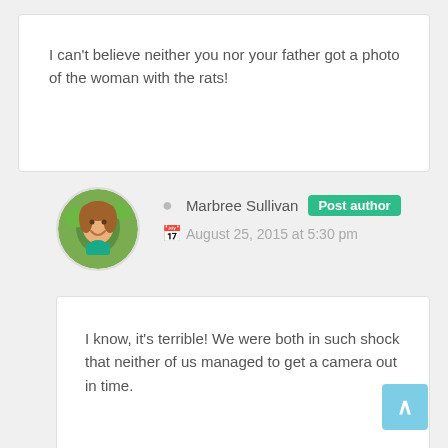I can’t believe neither you nor your father got a photo of the woman with the rats!
Marbree Sullivan  Post author
August 25, 2015 at 5:30 pm
I know, it’s terrible! We were both in such shock that neither of us managed to get a camera out in time.